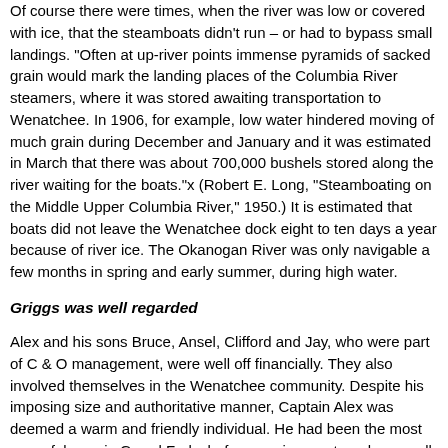Of course there were times, when the river was low or covered with ice, that the steamboats didn't run – or had to bypass small landings. "Often at up-river points immense pyramids of sacked grain would mark the landing places of the Columbia River steamers, where it was stored awaiting transportation to Wenatchee. In 1906, for example, low water hindered moving of much grain during December and January and it was estimated in March that there was about 700,000 bushels stored along the river waiting for the boats."x (Robert E. Long, "Steamboating on the Middle Upper Columbia River," 1950.) It is estimated that boats did not leave the Wenatchee dock eight to ten days a year because of river ice. The Okanogan River was only navigable a few months in spring and early summer, during high water.
Griggs was well regarded
Alex and his sons Bruce, Ansel, Clifford and Jay, who were part of C & O management, were well off financially. They also involved themselves in the Wenatchee community. Despite his imposing size and authoritative manner, Captain Alex was deemed a warm and friendly individual. He had been the most powerful man in Grand Forks before moving west, and was well known and highly regarded in North Central Washington. Touting his generosity, The Chelan Leader reported on Aug. 29, 1901: "Capt. Alex Griggs, the genial